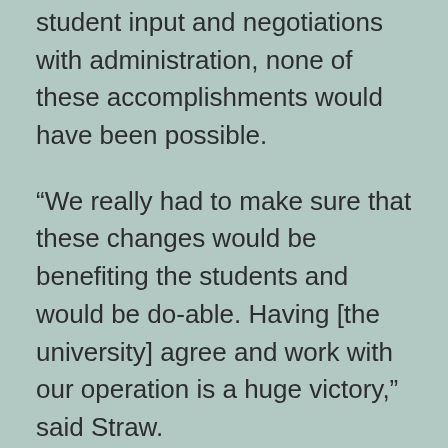student input and negotiations with administration, none of these accomplishments would have been possible.
“We really had to make sure that these changes would be benefiting the students and would be do-able. Having [the university] agree and work with our operation is a huge victory,” said Straw.
His shortcomings occurred with the new trash, recycling and compost bins that were installed in MacHall this semester, as students found them confusing, and they were expensive, but